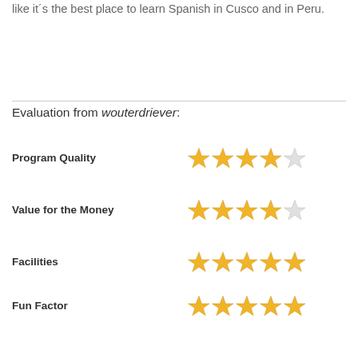like it´s the best place to learn Spanish in Cusco and in Peru.
Evaluation from wouterdriever:
| Category | Rating |
| --- | --- |
| Program Quality | 4/5 stars |
| Value for the Money | 4/5 stars |
| Facilities | 5/5 stars |
| Fun Factor | 5/5 stars |
| Student Friendly | 5/5 stars |
| Accomodations | 4/5 stars |
I studied Spanish for 6 weeks in Cusco with